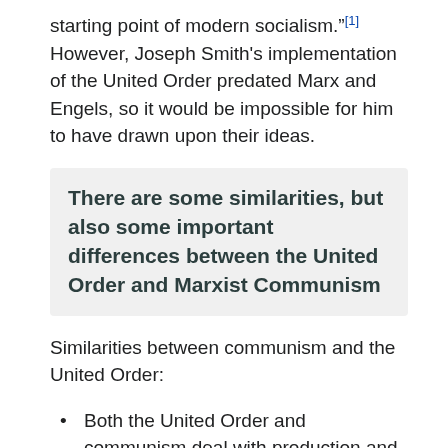starting point of modern socialism."[1] However, Joseph Smith's implementation of the United Order predated Marx and Engels, so it would be impossible for him to have drawn upon their ideas.
There are some similarities, but also some important differences between the United Order and Marxist Communism
Similarities between communism and the United Order:
Both the United Order and communism deal with production and distribution of goods.
Both the United Order and communism aim to